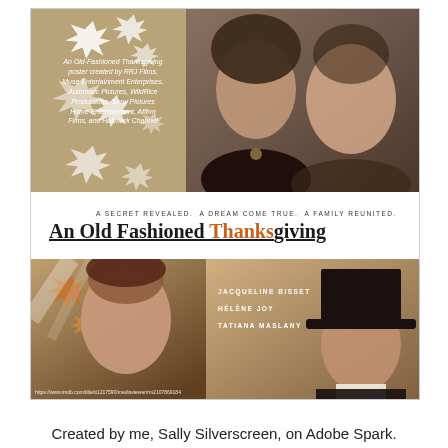[Figure (photo): Movie poster for 'An Old Fashioned Thanksgiving'. Top half shows two women in period costumes against autumn leaves background with small credit text. Middle white band has tagline 'A SECRET REVEALED. A DREAM COME TRUE. A FAMILY REUNITED.' and underlined title 'An Old Fashioned Thanksgiving' with 'Thanks' in orange. Bottom half shows a woman and a man in top hat in autumnal setting, with cast names JACQUELINE BISSET, HELENE JOY, TATIANA MASLANY listed, and IMDB URL watermark at bottom.]
Created by me, Sally Silverscreen, on Adobe Spark.